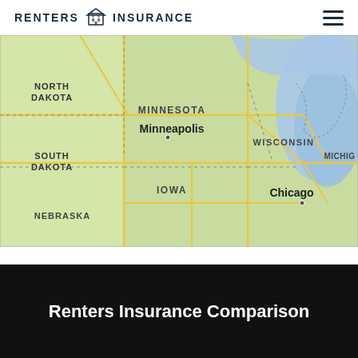RENTERS INSURANCE
[Figure (map): Google Maps view showing the upper Midwest United States including North Dakota, South Dakota, Minnesota (with Minneapolis labeled), Wisconsin, Iowa, Nebraska, Michigan (partial), and Chicago labeled on the right side. Large blue water bodies visible including Lake Michigan. Yellow roads and dashed state borders visible on green/beige terrain.]
Renters Insurance Comparison